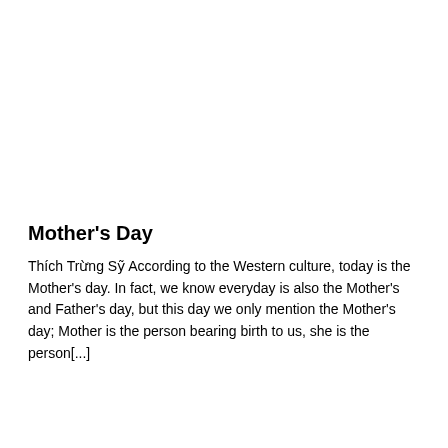Mother's Day
Thích Trừng Sỹ According to the Western culture, today is the Mother's day. In fact, we know everyday is also the Mother's and Father's day, but this day we only mention the Mother's day; Mother is the person bearing birth to us, she is the person[...]